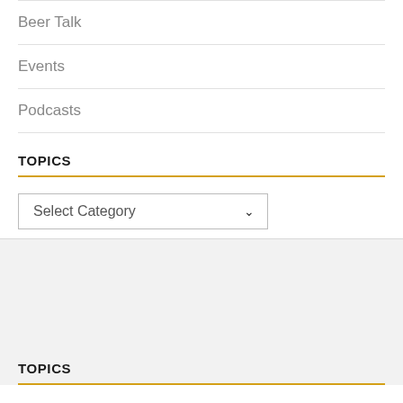Beer Talk
Events
Podcasts
TOPICS
Select Category
TOPICS